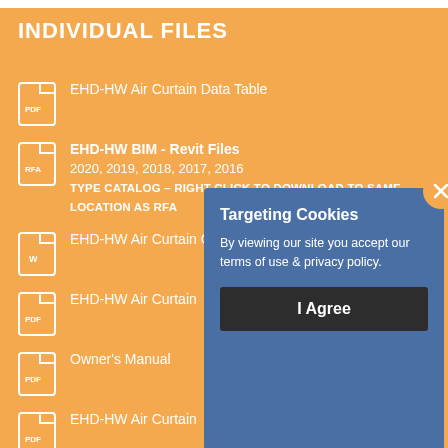INDIVIDUAL FILES
EHD-HW Air Curtain Data Table
EHD-HW BIM - Revit Files
2020, 2019, 2018, 2017, 2016
TYPE CATALOG – RIGHT CLICK TO DOWNLOAD TO SAME LOCATION AS RFA
EHD-HW Air Curtain CSI Specifications
EHD-HW Air Curtain
Owner's Manual
EHD-HW Air Curtain
Control Panel
Targeting Cookies
By viewing our site you accept our terms of use & privacy policy.
I Agree